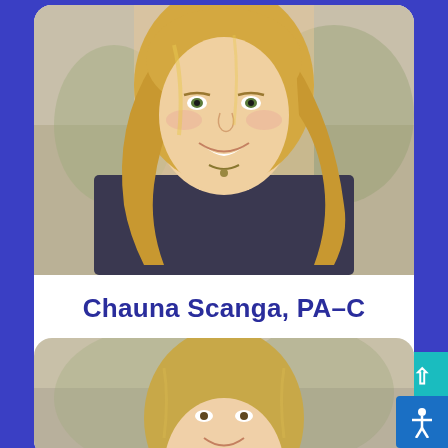[Figure (photo): Professional headshot of Chauna Scanga, PA-C — a woman with long blonde wavy hair, smiling, wearing a dark floral patterned top]
Chauna Scanga, PA-C
Read More
[Figure (photo): Professional headshot of a second person — a woman with medium-length blonde hair, smiling, partially visible (cropped at bottom of page)]